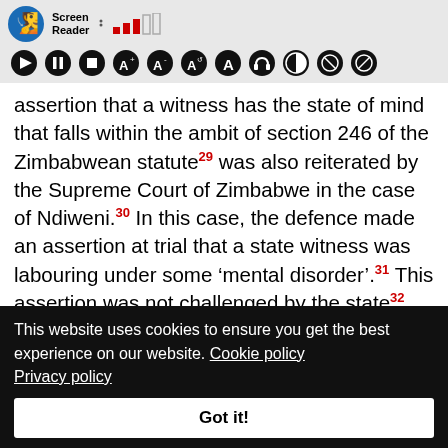[Figure (screenshot): Screen Reader toolbar with logo, signal bars, and accessibility control icons on gray background]
assertion that a witness has the state of mind that falls within the ambit of section 246 of the Zimbabwean statute29 was also reiterated by the Supreme Court of Zimbabwe in the case of Ndiweni.30 In this case, the defence made an assertion at trial that a state witness was labouring under some ‘mental disorder’.31 This assertion was not challenged by the state32 and the trial court did not probe the assertion. The Supreme Court of Zimbabwe found that this was an irregularity.33 Once an assertion has been made by the defence that a witness is
This website uses cookies to ensure you get the best experience on our website. Cookie policy Privacy policy
Got it!